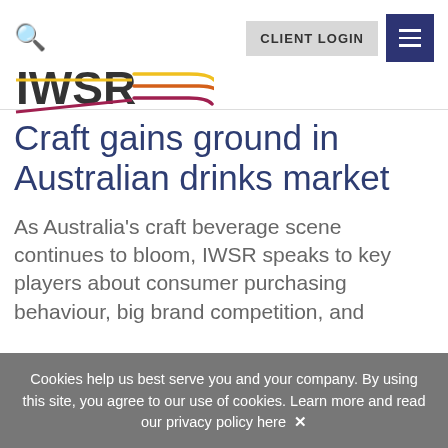[Figure (logo): IWSR logo with colored lines (yellow, orange, red/burgundy) forming a stylized arrow/split shape to the right of the IWSR text]
CLIENT LOGIN
Craft gains ground in Australian drinks market
As Australia's craft beverage scene continues to bloom, IWSR speaks to key players about consumer purchasing behaviour, big brand competition, and
Cookies help us best serve you and your company. By using this site, you agree to our use of cookies. Learn more and read our privacy policy here ✕